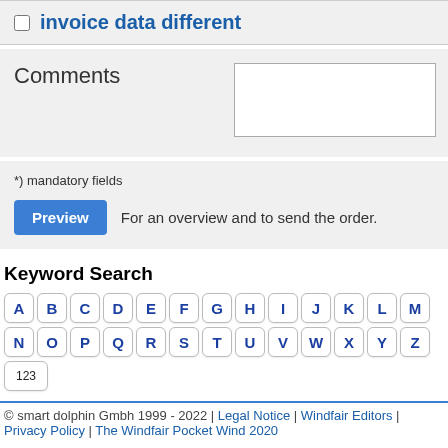invoice data different
Comments
*) mandatory fields
For an overview and to send the order.
Keyword Search
A B C D E F G H I J K L M N O P Q R S T U V W X Y Z 123
© smart dolphin Gmbh 1999 - 2022 | Legal Notice | Windfair Editors | Privacy Policy | The Windfair Pocket Wind 2020